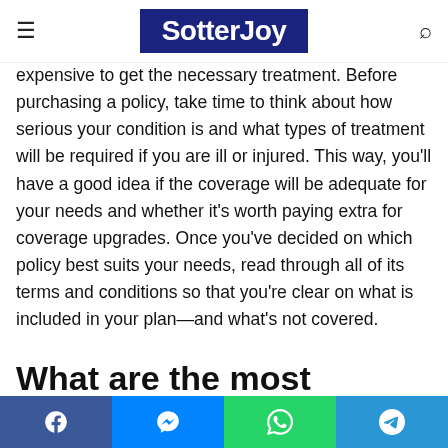SotterJoy
expensive to get the necessary treatment. Before purchasing a policy, take time to think about how serious your condition is and what types of treatment will be required if you are ill or injured. This way, you'll have a good idea if the coverage will be adequate for your needs and whether it's worth paying extra for coverage upgrades. Once you've decided on which policy best suits your needs, read through all of its terms and conditions so that you're clear on what is included in your plan—and what's not covered.
What are the most common reasons for travel insurance